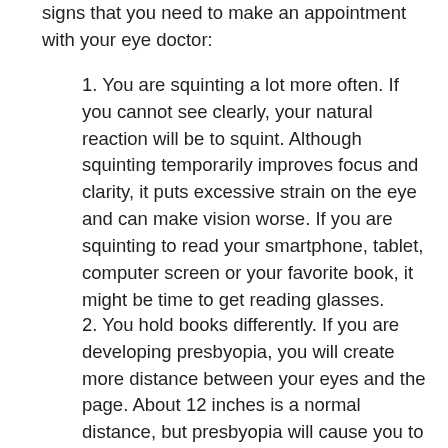signs that you need to make an appointment with your eye doctor:
1. You are squinting a lot more often. If you cannot see clearly, your natural reaction will be to squint. Although squinting temporarily improves focus and clarity, it puts excessive strain on the eye and can make vision worse. If you are squinting to read your smartphone, tablet, computer screen or your favorite book, it might be time to get reading glasses.
2. You hold books differently. If you are developing presbyopia, you will create more distance between your eyes and the page. About 12 inches is a normal distance, but presbyopia will cause you to hold books more at arm's length. If you